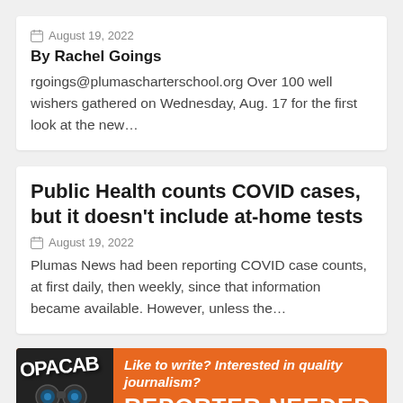August 19, 2022
By Rachel Goings
rgoings@plumascharterschool.org Over 100 well wishers gathered on Wednesday, Aug. 17 for the first look at the new...
Public Health counts COVID cases, but it doesn't include at-home tests
August 19, 2022
Plumas News had been reporting COVID case counts, at first daily, then weekly, since that information became available. However, unless the...
[Figure (illustration): Advertisement banner: orange background with dark left panel showing 'OPACAB' text and binoculars image. Text reads 'Like to write? Interested in quality journalism?' and 'REPORTER NEEDED' in white bold text.]